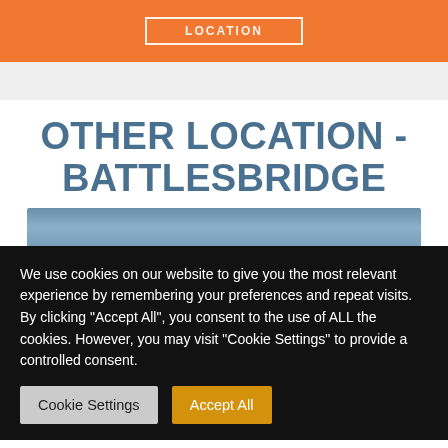[Figure (other): Orange banner with white bordered button showing 'LOCATION' text]
OTHER LOCATION - BATTLESBRIDGE
[Figure (photo): Partial view of a photo, blue-gray tones, mostly cropped]
We use cookies on our website to give you the most relevant experience by remembering your preferences and repeat visits. By clicking "Accept All", you consent to the use of ALL the cookies. However, you may visit "Cookie Settings" to provide a controlled consent.
Cookie Settings | Accept All